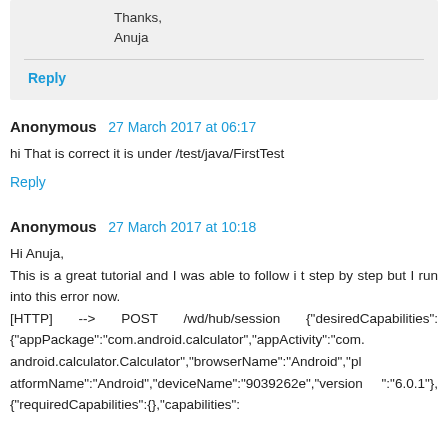Thanks,
Anuja
Reply
Anonymous  27 March 2017 at 06:17
hi That is correct it is under /test/java/FirstTest
Reply
Anonymous  27 March 2017 at 10:18
Hi Anuja,
This is a great tutorial and I was able to follow i t step by step but I run into this error now.
[HTTP] --> POST /wd/hub/session {"desiredCapabilities":{"appPackage":"com.android.calculator","appActivity":"com.android.calculator.Calculator","browserName":"Android","platformName":"Android","deviceName":"9039262e","version":"6.0.1"},{"requiredCapabilities":{},"capabilities":